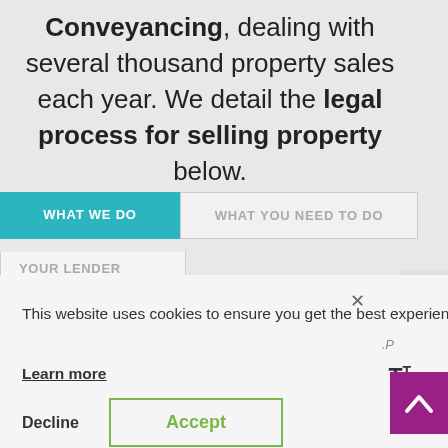Conveyancing, dealing with several thousand property sales each year. We detail the legal process for selling property below.
WHAT WE DO
WHAT YOU NEED TO DO
YOUR LENDER
This website uses cookies to ensure you get the best experience on our website.
Learn more
Decline
Accept